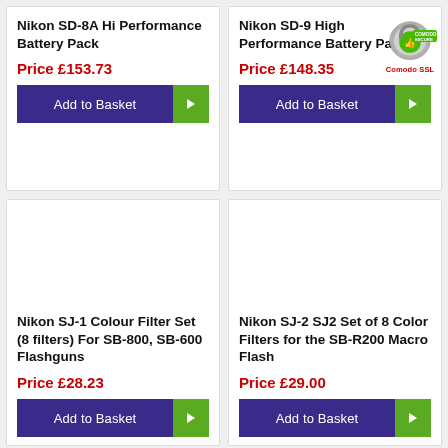Nikon SD-8A Hi Performance Battery Pack
Price £153.73
Nikon SD-9 High Performance Battery Pack
Price £148.35
Nikon SJ-1 Colour Filter Set (8 filters) For SB-800, SB-600 Flashguns
Price £28.23
Nikon SJ-2 SJ2 Set of 8 Color Filters for the SB-R200 Macro Flash
Price £29.00